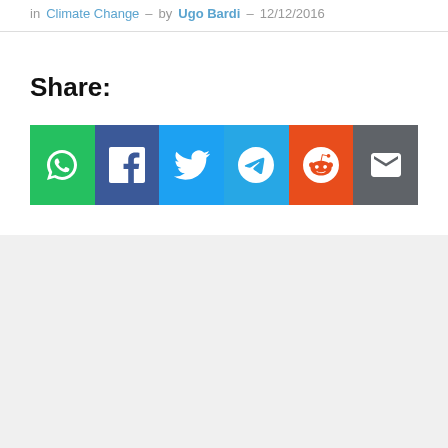in Climate Change – by Ugo Bardi – 12/12/2016
Share:
[Figure (infographic): Six social share buttons: WhatsApp (green), Facebook (dark blue), Twitter (light blue), Telegram (blue), Reddit (orange), Email (dark grey), each with a white icon on a colored square background.]